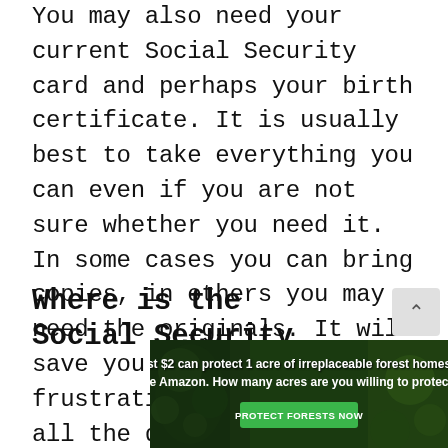You may also need your current Social Security card and perhaps your birth certificate. It is usually best to take everything you can even if you are not sure whether you need it. In some cases you can bring copies, in others you may need the originals. It will save you time and frustration if you bring all the documentation that they recommend rather than not have something you may need while you are visiting the office.
Where is the Social Security
[Figure (photo): Advertisement banner with forest/Amazon background. Text reads: 'Just $2 can protect 1 acre of irreplaceable forest homes in the Amazon. How many acres are you willing to protect?' with a green 'PROTECT FORESTS NOW' button.]